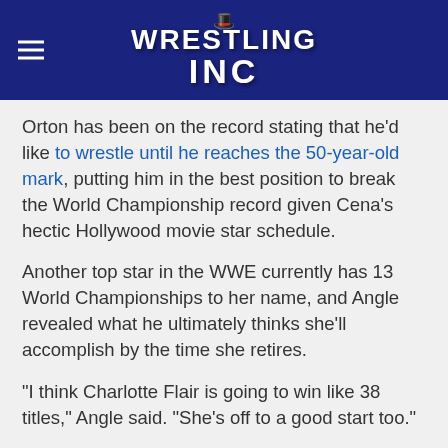Wrestling Inc
Orton has been on the record stating that he'd like to wrestle until he reaches the 50-year-old mark, putting him in the best position to break the World Championship record given Cena's hectic Hollywood movie star schedule.
Another top star in the WWE currently has 13 World Championships to her name, and Angle revealed what he ultimately thinks she'll accomplish by the time she retires.
"I think Charlotte Flair is going to win like 38 titles," Angle said. "She's off to a good start too."